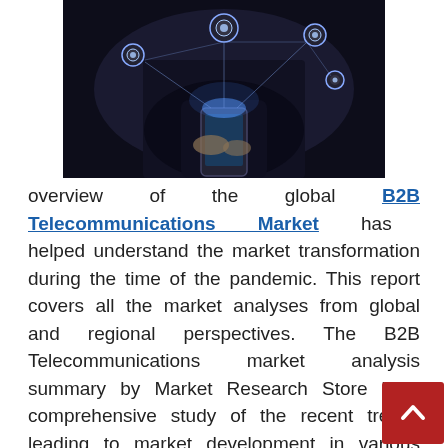[Figure (photo): Dark photo of a person in black clothing holding a smartphone with glowing network/tech orbs floating above it on a dark background]
overview of the global B2B Telecommunications Market has helped understand the market transformation during the time of the pandemic. This report covers all the market analyses from global and regional perspectives. The B2B Telecommunications market analysis summary by Market Research Store is a comprehensive study of the recent trends leading to market development in various regions. The research report offers vital details related to market size, market share, applications, m[arket] drivers, statistics, and sales. Furthermore, this [report...]